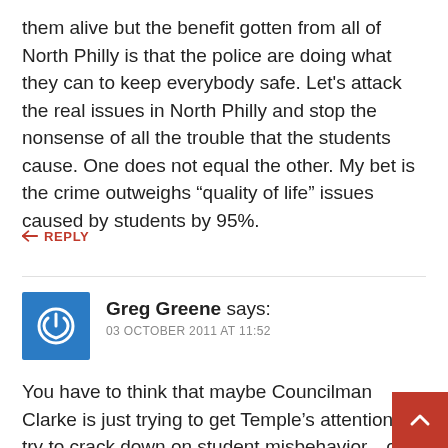them alive but the benefit gotten from all of North Philly is that the police are doing what they can to keep everybody safe. Let's attack the real issues in North Philly and stop the nonsense of all the trouble that the students cause. One does not equal the other. My bet is the crime outweighs “quality of life” issues caused by students by 95%.
REPLY
Greg Greene says:
03 OCTOBER 2011 AT 11:52
You have to think that maybe Councilman Clarke is just trying to get Temple’s attention to try to crack down on student misbehavior—or maybe he’s trying to extract some kind of monetary concession. But he can't be